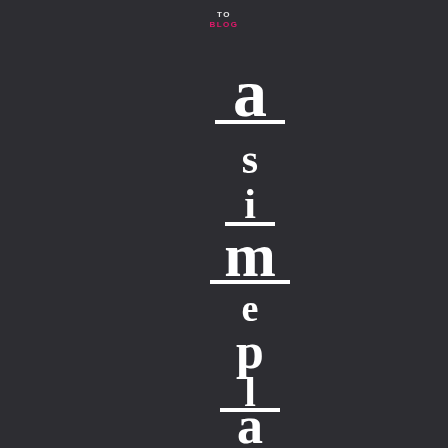TO BLOG — a simple beta
[Figure (illustration): Dark background page with vertically stacked individual letters spelling 'a simple beta' in large white serif font, with small pink/red 'TO BLOG' label at top center]